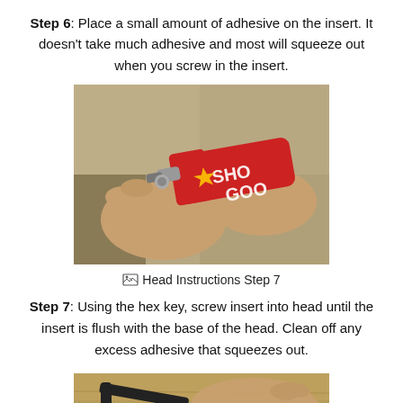Step 6: Place a small amount of adhesive on the insert. It doesn't take much adhesive and most will squeeze out when you screw in the insert.
[Figure (photo): Hands applying Shoe Goo adhesive from a red tube onto a metal insert]
Head Instructions Step 7
Step 7: Using the hex key, screw insert into head until the insert is flush with the base of the head. Clean off any excess adhesive that squeezes out.
[Figure (photo): Hands using a hex key to screw an insert into a head, close-up view]